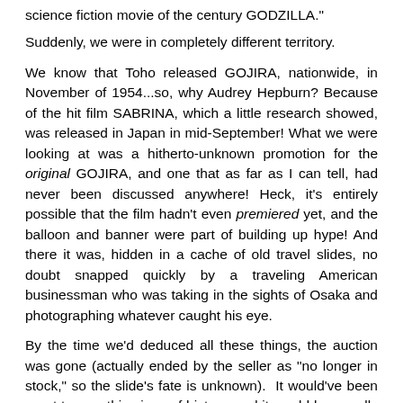science fiction movie of the century GODZILLA."
Suddenly, we were in completely different territory.
We know that Toho released GOJIRA, nationwide, in November of 1954...so, why Audrey Hepburn? Because of the hit film SABRINA, which a little research showed, was released in Japan in mid-September! What we were looking at was a hitherto-unknown promotion for the original GOJIRA, and one that as far as I can tell, had never been discussed anywhere! Heck, it's entirely possible that the film hadn't even premiered yet, and the balloon and banner were part of building up hype! And there it was, hidden in a cache of old travel slides, no doubt snapped quickly by a traveling American businessman who was taking in the sights of Osaka and photographing whatever caught his eye.
By the time we'd deduced all these things, the auction was gone (actually ended by the seller as "no longer in stock," so the slide's fate is unknown).  It would've been great to own this piece of history, and it would be equally exciting to know whatever became of the Godzilla balloon itself!